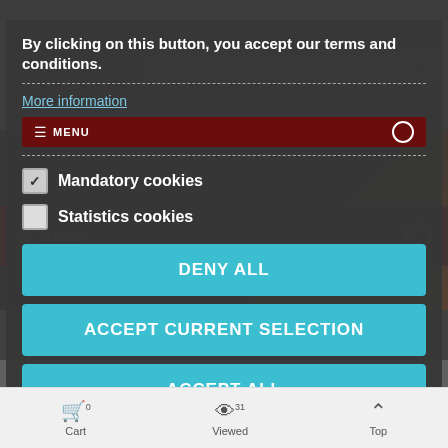[Figure (screenshot): Background website page showing a fitness/sports equipment e-commerce site (Sveltus) with search bar, dark red menu bar, product image, and bottom navigation bar with Cart (0), Viewed (31), and Top buttons.]
By clicking on this button, you accept our terms and conditions.
More information
Mandatory cookies
Statistics cookies
DENY ALL
ACCEPT CURRENT SELECTION
ACCEPT ALL
With its adjustable filling, it allows for resistance work to increase y... w...
weighting: 25 kg. The length of the robe can be adjusted to fit all
Cart
0
Viewed
31
Top